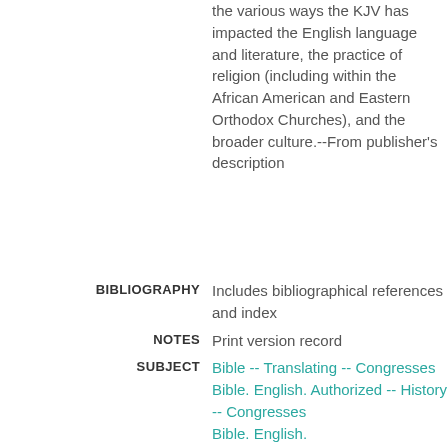the various ways the KJV has impacted the English language and literature, the practice of religion (including within the African American and Eastern Orthodox Churches), and the broader culture.--From publisher's description
BIBLIOGRAPHY
Includes bibliographical references and index
NOTES
Print version record
SUBJECT
Bible -- Translating -- Congresses
Bible. English. Authorized -- History -- Congresses
Bible. English.